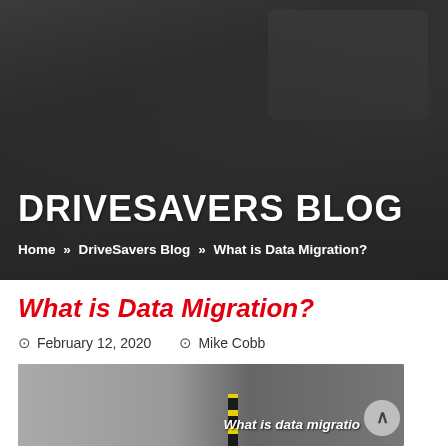DRIVESAVERS BLOG
Home » DriveSavers Blog » What is Data Migration?
What is Data Migration?
February 12, 2020   Mike Cobb
[Figure (photo): Photo of a rope or cable on a wooden surface with text overlay reading 'What is data migration']